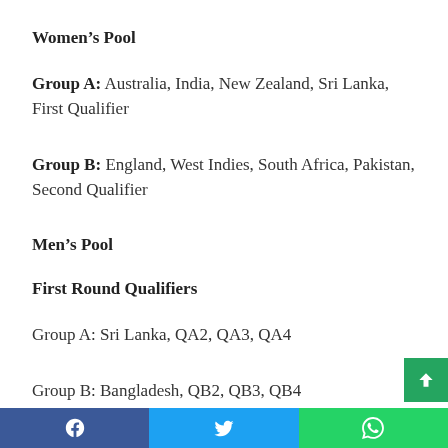Women’s Pool
Group A: Australia, India, New Zealand, Sri Lanka, First Qualifier
Group B: England, West Indies, South Africa, Pakistan, Second Qualifier
Men’s Pool
First Round Qualifiers
Group A: Sri Lanka, QA2, QA3, QA4
Group B: Bangladesh, QB2, QB3, QB4
Facebook | Twitter | WhatsApp